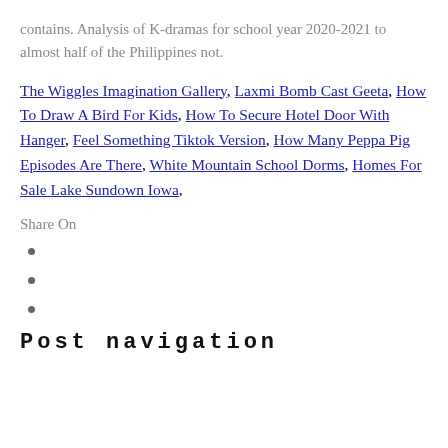contains. Analysis of K-dramas for school year 2020-2021 to almost half of the Philippines not.
The Wiggles Imagination Gallery, Laxmi Bomb Cast Geeta, How To Draw A Bird For Kids, How To Secure Hotel Door With Hanger, Feel Something Tiktok Version, How Many Peppa Pig Episodes Are There, White Mountain School Dorms, Homes For Sale Lake Sundown Iowa,
Share On
Post navigation